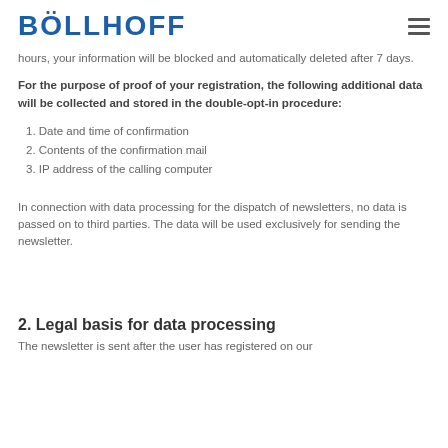BÖLLHOFF
hours, your information will be blocked and automatically deleted after 7 days.
For the purpose of proof of your registration, the following additional data will be collected and stored in the double-opt-in procedure:
1. Date and time of confirmation
2. Contents of the confirmation mail
3. IP address of the calling computer
In connection with data processing for the dispatch of newsletters, no data is passed on to third parties. The data will be used exclusively for sending the newsletter.
2. Legal basis for data processing
The newsletter is sent after the user has registered on our